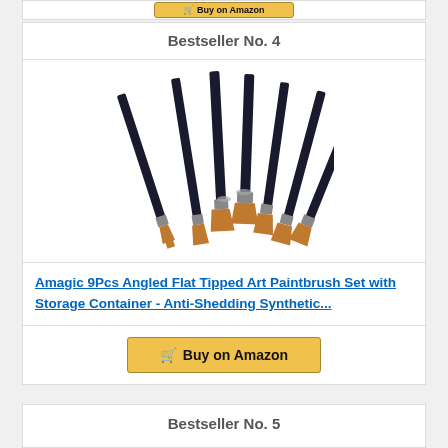[Figure (other): Partial view of a yellow Buy on Amazon button from the card above]
Bestseller No. 4
[Figure (photo): Amagic 9Pcs Angled Flat Tipped Art Paintbrush Set - 7 black-handled angled paintbrushes with copper/orange bristles arranged in a fan display]
Amagic 9Pcs Angled Flat Tipped Art Paintbrush Set with Storage Container - Anti-Shedding Synthetic...
Buy on Amazon
Bestseller No. 5